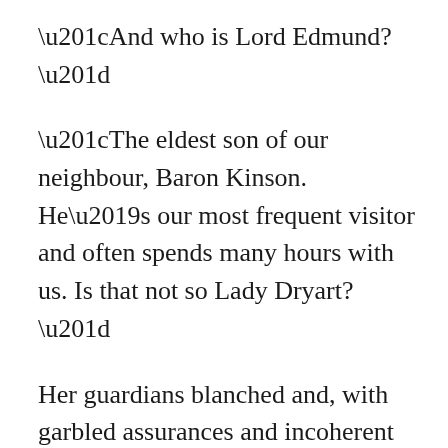“And who is Lord Edmund?”
“The eldest son of our neighbour, Baron Kinson. He’s our most frequent visitor and often spends many hours with us. Is that not so Lady Dryart?”
Her guardians blanched and, with garbled assurances and incoherent excuses, rushed into the house, leaving Isobel and Duncan to follow at their leisure.
“No kisses?”
“Stop being such a beast, we’re not meant to